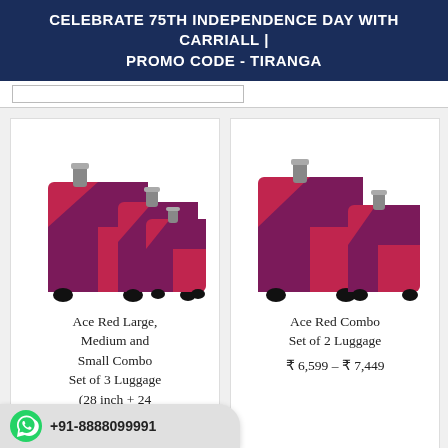CELEBRATE 75TH INDEPENDENCE DAY WITH CARRIALL | PROMO CODE - TIRANGA
[Figure (photo): Ace Red Large, Medium and Small Combo Set of 3 Luggage with wheels - pink/red and purple diagonal stripe design]
Ace Red Large, Medium and Small Combo Set of 3 Luggage (28 inch + 24 inch)
₹ 10,499
[Figure (photo): Ace Red Combo Set of 2 Luggage with wheels - pink/red and purple diagonal stripe design]
Ace Red Combo Set of 2 Luggage
₹ 6,599 – ₹ 7,449